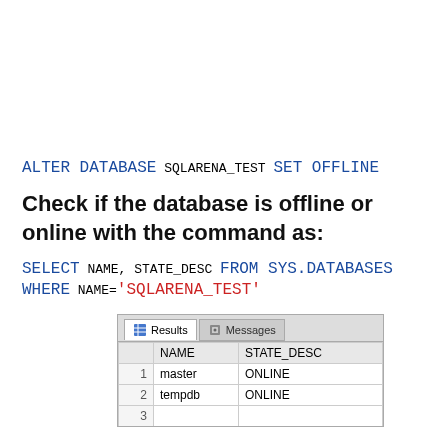ALTER DATABASE SQLARENA_TEST SET OFFLINE
Check if the database is offline or online with the command as:
SELECT NAME, STATE_DESC FROM SYS.DATABASES WHERE NAME='SQLARENA_TEST'
[Figure (screenshot): SQL Server Management Studio Results grid showing Results and Messages tabs. Table with columns NAME and STATE_DESC. Row 1: master, ONLINE. Row 2: tempdb, ONLINE. Row 3 partially visible.]